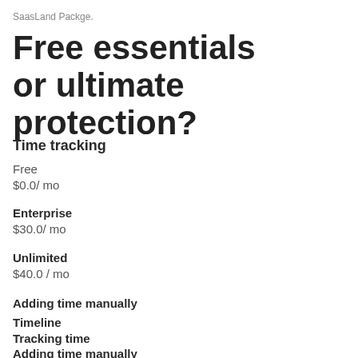SaasLand Packge.
Free essentials or ultimate protection?
Time tracking
Free
$0.0/ mo
Enterprise
$30.0/ mo
Unlimited
$40.0 / mo
Adding time manually
Timeline
Tracking time
Adding time manually